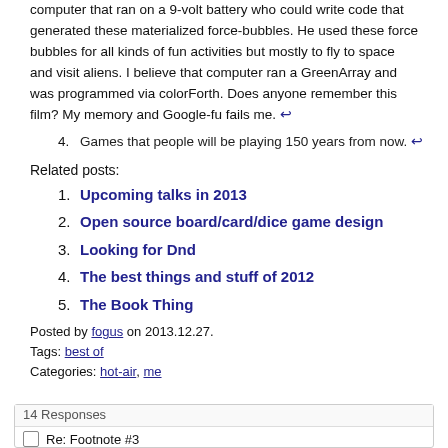computer that ran on a 9-volt battery who could write code that generated these materialized force-bubbles. He used these force bubbles for all kinds of fun activities but mostly to fly to space and visit aliens. I believe that computer ran a GreenArray and was programmed via colorForth. Does anyone remember this film? My memory and Google-fu fails me. ↩
4. Games that people will be playing 150 years from now. ↩
Related posts:
1. Upcoming talks in 2013
2. Open source board/card/dice game design
3. Looking for Dnd
4. The best things and stuff of 2012
5. The Book Thing
Posted by fogus on 2013.12.27.
Tags: best of
Categories: hot-air, me
14 Responses
Re: Footnote #3